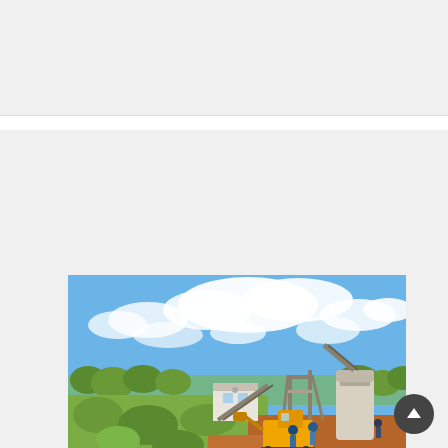[Figure (other): Gray placeholder block at the top of the page, likely an advertisement or banner area]
[Figure (photo): Outdoor industrial mining/sand-making site with machinery including a yellow bulldozer/excavator, conveyor belts, a tall cylindrical VSI sand making machine, green vegetation, red-orange dirt ground, workers in hard hats, and a cloudy blue sky]
Vsi Sand Maker Machine Made In China Offers From China Vsi